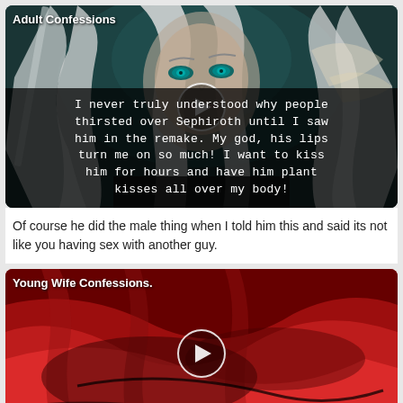[Figure (screenshot): Video thumbnail labeled 'Adult Confessions' showing a character with long silver/white hair and teal eyes (Sephiroth from Final Fantasy VII Remake) with a play button overlay and white text caption overlay at the bottom]
Of course he did the male thing when I told him this and said its not like you having sex with another guy.
[Figure (screenshot): Video thumbnail labeled 'Young Wife Confessions.' showing red fabric/clothing with a play button overlay, partially visible]